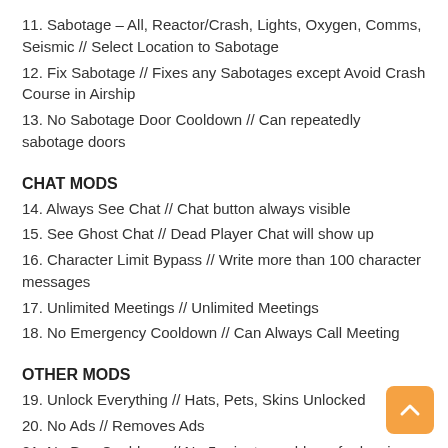11. Sabotage – All, Reactor/Crash, Lights, Oxygen, Comms, Seismic // Select Location to Sabotage
12. Fix Sabotage // Fixes any Sabotages except Avoid Crash Course in Airship
13. No Sabotage Door Cooldown // Can repeatedly sabotage doors
CHAT MODS
14. Always See Chat // Chat button always visible
15. See Ghost Chat // Dead Player Chat will show up
16. Character Limit Bypass // Write more than 100 character messages
17. Unlimited Meetings // Unlimited Meetings
18. No Emergency Cooldown // Can Always Call Meeting
OTHER MODS
19. Unlock Everything // Hats, Pets, Skins Unlocked
20. No Ads // Removes Ads
21. No Ban Cooldown // No 5-minute cooldown for leaving matches early
Tutorial: How to install .deb on jailbreak iOS